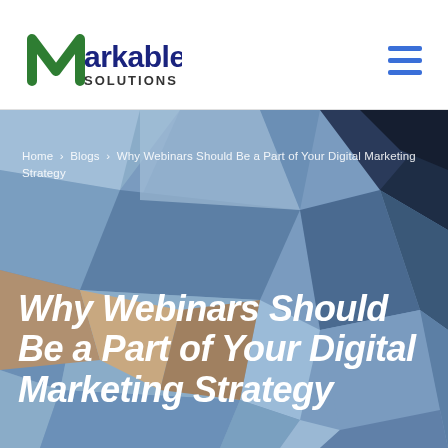[Figure (logo): Markable Solutions logo — green stylized M with dark blue text 'Markable' and 'SOLUTIONS' below]
[Figure (illustration): Hamburger menu icon — three horizontal blue lines]
[Figure (illustration): Abstract low-poly geometric background in blue, gray, and brown tones]
Home › Blogs › Why Webinars Should Be a Part of Your Digital Marketing Strategy
Why Webinars Should Be a Part of Your Digital Marketing Strategy